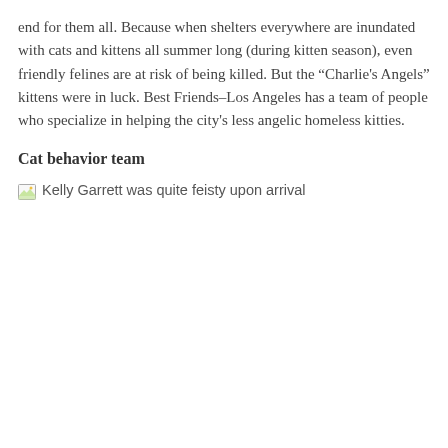end for them all. Because when shelters everywhere are inundated with cats and kittens all summer long (during kitten season), even friendly felines are at risk of being killed. But the “Charlie's Angels” kittens were in luck. Best Friends–Los Angeles has a team of people who specialize in helping the city's less angelic homeless kitties.
Cat behavior team
[Figure (photo): Broken image placeholder with alt text: Kelly Garrett was quite feisty upon arrival]